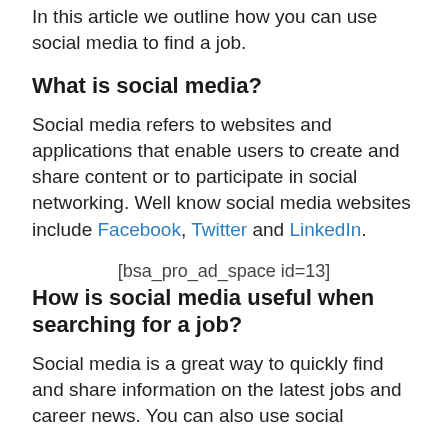In this article we outline how you can use social media to find a job.
What is social media?
Social media refers to websites and applications that enable users to create and share content or to participate in social networking. Well know social media websites include Facebook, Twitter and LinkedIn.
[bsa_pro_ad_space id=13]
How is social media useful when searching for a job?
Social media is a great way to quickly find and share information on the latest jobs and career news. You can also use social